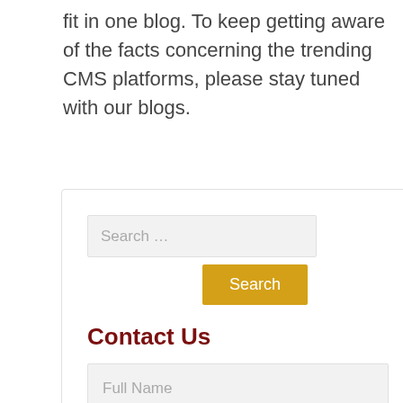fit in one blog. To keep getting aware of the facts concerning the trending CMS platforms, please stay tuned with our blogs.
[Figure (screenshot): A white card widget containing a search bar with placeholder text 'Search ...', a yellow 'Search' button, a 'Contact Us' section header in dark red bold, and form input fields labeled Full Name, Email, and Mobile No., with a partially visible fourth field at the bottom.]